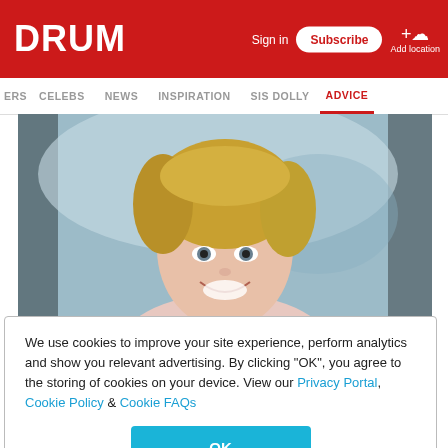DRUM | Sign in | Subscribe | Add location
ERS | CELEBS | NEWS | INSPIRATION | SIS DOLLY | ADVICE
[Figure (photo): Smiling blonde woman in light pink top, photographed against a blurred background]
We use cookies to improve your site experience, perform analytics and show you relevant advertising. By clicking "OK", you agree to the storing of cookies on your device. View our Privacy Portal, Cookie Policy & Cookie FAQs
OK